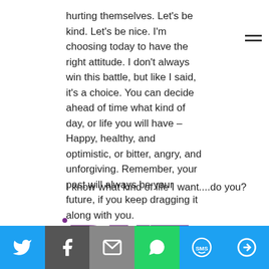hurting themselves. Let’s be kind. Let’s be nice. I’m choosing today to have the right attitude. I don’t always win this battle, but like I said, it’s a choice. You can decide ahead of time what kind of day, or life you will have – Happy, healthy, and optimistic, or bitter, angry, and unforgiving. Remember, your past will always be your future, if you keep dragging it along with you.
I know what kind of life I want....do you?
[Figure (illustration): Decorative typographic image with 'BUT' in large purple serif font, 'IT'S' in large black serif font, and 'NOT' in large purple serif font, arranged in a stacked layout with decorative dots on the left of each word.]
Social sharing bar with icons: Twitter, Facebook, Email, WhatsApp, SMS, More